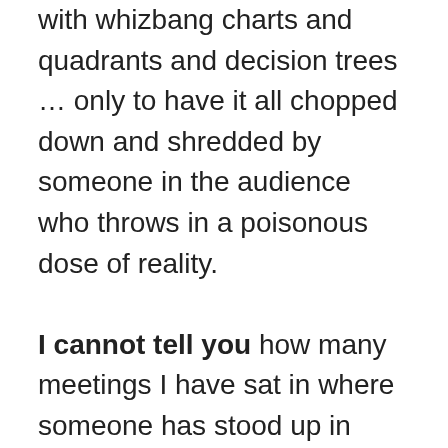with whizbang charts and quadrants and decision trees … only to have it all chopped down and shredded by someone in the audience who throws in a poisonous dose of reality.

I cannot tell you how many meetings I have sat in where someone has stood up in front of the room with snappy little charts with numbers highlighted <and the mind-numbing graphs to explain the wonderful painless short summary numbers pages> … only to have it all zeroed out by someone in the audience